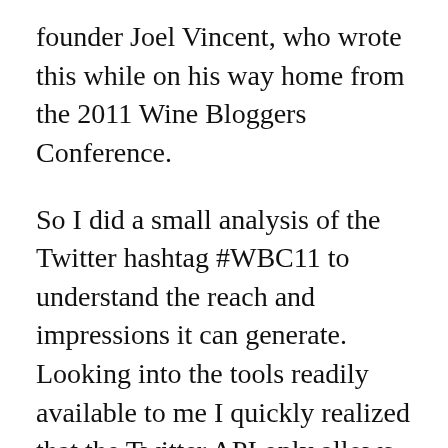founder Joel Vincent, who wrote this while on his way home from the 2011 Wine Bloggers Conference.
So I did a small analysis of the Twitter hashtag #WBC11 to understand the reach and impressions it can generate. Looking into the tools readily available to me I quickly realized that the Twitter API only allows me to analyze the last 1500 tweets under #WBC11. As it turns out, that covers Sunday starting at about 3am until 4pm when I ran the analysis.
I have to admit the results are impressive! Here is a sampling